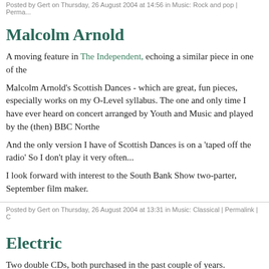Posted by Gert on Thursday, 26 August 2004 at 14:56 in Music: Rock and pop | Perma...
Malcolm Arnold
A moving feature in The Independent, echoing a similar piece in one of the...
Malcolm Arnold's Scottish Dances - which are great, fun pieces, especially... works on my O-Level syllabus. The one and only time I have ever heard on... concert arranged by Youth and Music and played by the (then) BBC Northe...
And the only version I have of Scottish Dances is on a 'taped off the radio'... So I don't play it very often...
I look forward with interest to the South Bank Show two-parter, September... film maker.
Posted by Gert on Thursday, 26 August 2004 at 13:31 in Music: Classical | Permalink | C...
Electric
Two double CDs, both purchased in the past couple of years.
Electric "The Very Best of Electronic, New Wave and Synth", and Electric D... tracks, only eight are repeated...
More Eighties pop tartism. Pity, then, that having pressed 'Random' the firs... hate it today. Then I hear Gary Numan's Cars. Which, twenty-five years on... Year). My friend, and my sister's friend, were both obsessive Gary Numan...